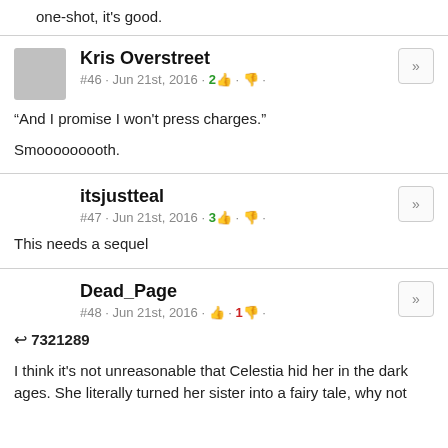one-shot, it's good.
Kris Overstreet
#46 · Jun 21st, 2016 · 2 👍 · 👎
"And I promise I won't press charges."

Smooooooooth.
itsjustteal
#47 · Jun 21st, 2016 · 3 👍 · 👎
This needs a sequel
Dead_Page
#48 · Jun 21st, 2016 · 👍 · 1 👎
↩ 7321289
I think it's not unreasonable that Celestia hid her in the dark ages. She literally turned her sister into a fairy tale, why not